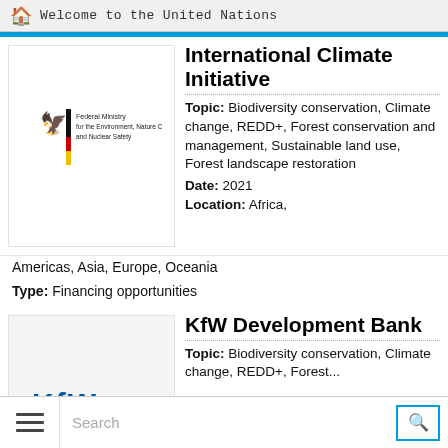Welcome to the United Nations
[Figure (logo): Federal Ministry for the Environment, Nature Conservation and Nuclear Safety logo with German eagle and colored vertical bar (black, red, yellow)]
International Climate Initiative
Topic: Biodiversity conservation, Climate change, REDD+, Forest conservation and management, Sustainable land use, Forest landscape restoration
Date: 2021
Location: Africa, Americas, Asia, Europe, Oceania
Type: Financing opportunities
[Figure (logo): KfW Development Bank logo (partially visible blue text at bottom of image card)]
KfW Development Bank
Topic: Biodiversity conservation, Climate change, REDD+, Forest...
Search